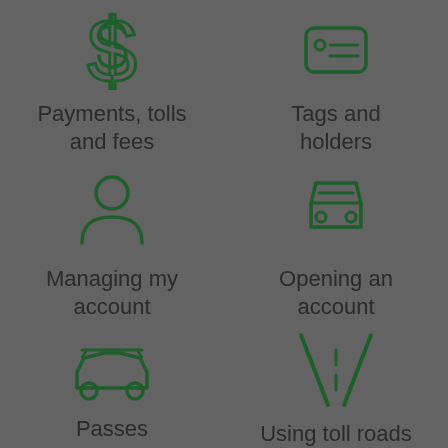[Figure (illustration): Green dollar sign icon]
Payments, tolls and fees
[Figure (illustration): Green tag/label icon]
Tags and holders
[Figure (illustration): Green person/user icon]
Managing my account
[Figure (illustration): Green car front-view icon]
Opening an account
[Figure (illustration): Green car side-view with surfboard/pass icon]
Passes
[Figure (illustration): Green road/highway icon]
Using toll roads